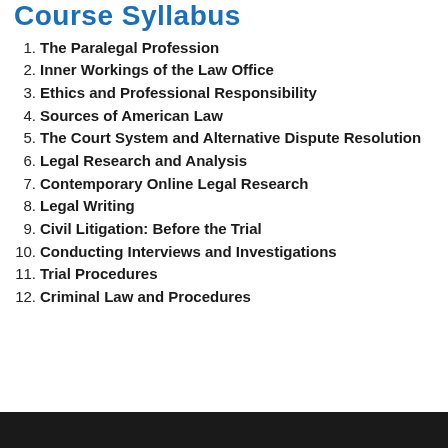Course Syllabus
1. The Paralegal Profession
2. Inner Workings of the Law Office
3. Ethics and Professional Responsibility
4. Sources of American Law
5. The Court System and Alternative Dispute Resolution
6. Legal Research and Analysis
7. Contemporary Online Legal Research
8. Legal Writing
9. Civil Litigation: Before the Trial
10. Conducting Interviews and Investigations
11. Trial Procedures
12. Criminal Law and Procedures